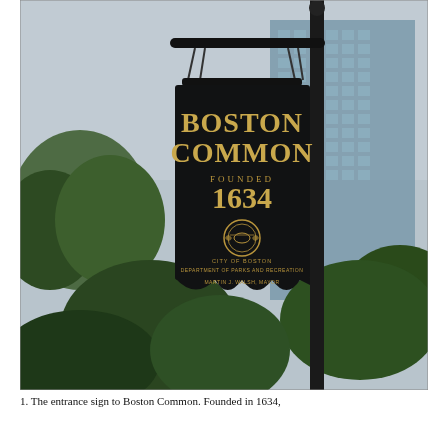[Figure (photo): Photograph of a black Boston Common park sign hanging from a metal pole. The sign reads 'BOSTON COMMON FOUNDED 1634' in gold lettering, with a City of Boston seal, and text reading 'CITY OF BOSTON DEPARTMENT OF PARKS AND RECREATION' and 'MARTIN J. WALSH, MAYOR'. Behind the sign are trees and a tall glass skyscraper under an overcast sky.]
1. The entrance sign to Boston Common. Founded in 1634,